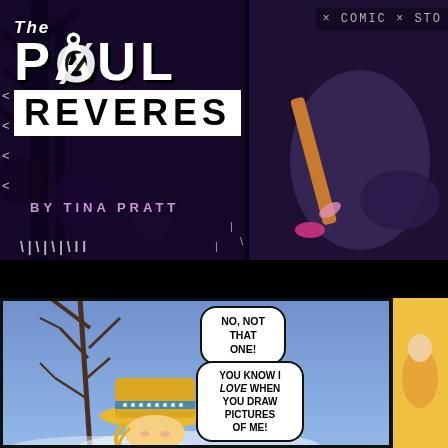[Figure (illustration): Comic book cover/header panel. Dark purple night scene with 'The Paul Reveres' title and 'By Tina Pratt' text. Right portion shows a character holding a guitar neck against dark background. White decorative slash/rain marks scattered throughout.]
The PAUL REVERES
BY TINA PRATT
× COMIC × STO...
[Figure (illustration): Comic strip panel showing a blonde girl with a large hat against a blue sky background with bare tree branches. Two speech bubbles: 'NO, NOT THAT ONE!' and 'YOU KNOW I LOVE WHEN YOU DRAW PICTURES OF ME!']
NO, NOT THAT ONE!
YOU KNOW I LOVE WHEN YOU DRAW PICTURES OF ME!